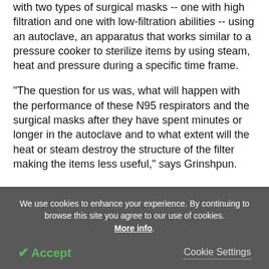with two types of surgical masks -- one with high filtration and one with low-filtration abilities -- using an autoclave, an apparatus that works similar to a pressure cooker to sterilize items by using steam, heat and pressure during a specific time frame.
"The question for us was, what will happen with the performance of these N95 respirators and the surgical masks after they have spent minutes or longer in the autoclave and to what extent will the heat or steam destroy the structure of the filter making the items less useful," says Grinshpun.
We use cookies to enhance your experience. By continuing to browse this site you agree to our use of cookies. More info.